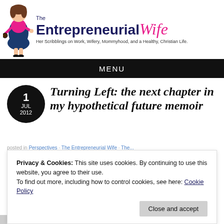[Figure (logo): The Entrepreneurial Wife blog logo with cartoon woman figure and tagline: Her Scribblings on Work, Wifery, Mommyhood, and a Healthy, Christian Life.]
MENU
Turning Left: the next chapter in my hypothetical future memoir
1 JUL 2012
Privacy & Cookies: This site uses cookies. By continuing to use this website, you agree to their use.
To find out more, including how to control cookies, see here: Cookie Policy
finding poignancy in the